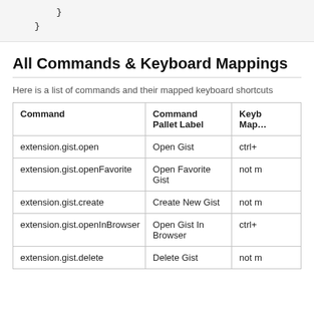}
}
All Commands & Keyboard Mappings
Here is a list of commands and their mapped keyboard shortcuts
| Command | Command Pallet Label | Keyboard Map… |
| --- | --- | --- |
| extension.gist.open | Open Gist | ctrl+ |
| extension.gist.openFavorite | Open Favorite Gist | not m |
| extension.gist.create | Create New Gist | not m |
| extension.gist.openInBrowser | Open Gist In Browser | ctrl+ |
| extension.gist.delete | Delete Gist | not m |